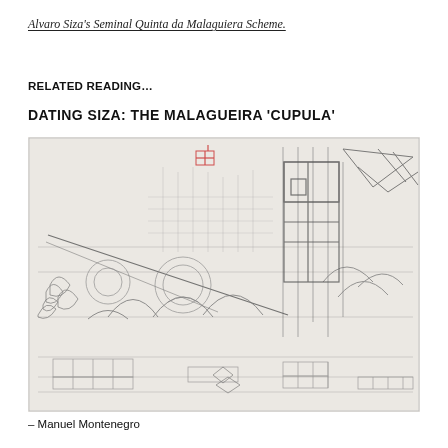Alvaro Siza's Seminal Quinta da Malaguiera Scheme.
RELATED READING…
DATING SIZA: THE MALAGUEIRA 'CUPULA'
[Figure (illustration): Architectural pencil sketch drawing showing building elevations with cupola/dome forms, structural details, arches and construction lines for the Malagueira 'Cupula' project by Alvaro Siza. The drawing features light pencil lines on off-white paper with red pencil annotations at top center.]
– Manuel Montenegro